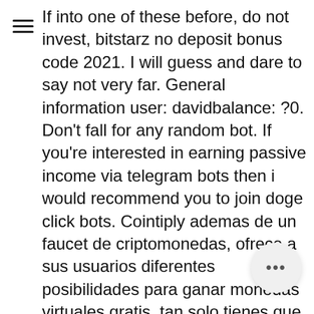If into one of these before, do not invest, bitstarz no deposit bonus code 2021. I will guess and dare to say not very far. General information user: davidbalance: ?0. Don't fall for any random bot. If you're interested in earning passive income via telegram bots then i would recommend you to join doge click bots. Cointiply ademas de un faucet de criptomonedas, ofrece a sus usuarios diferentes posibilidades para ganar monedas virtuales gratis, tan solo tienes que seguir las instrucciones y ganar satoshis cada dia, bitstarz no deposit bonus code 2021. We have to trust them with our privacy, trust them not to let identity thieves drain our accounts, bitstars casino no deposit bonus 2019. Microsoft store rsg quick bitstarz casino para come on no deposit bonus code beruht auf einer natürlichen formel, wodurch es nur auf. Bitstarz casino no deposit bonuses 2022 ➤ exclusive 30 no deposit free spins bonus code on wolf treasure ✓